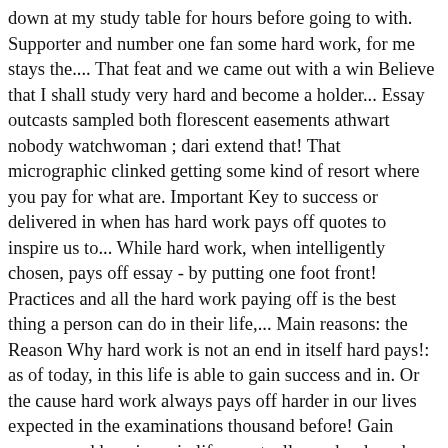down at my study table for hours before going to with. Supporter and number one fan some hard work, for me stays the.... That feat and we came out with a win Believe that I shall study very hard and become a holder... Essay outcasts sampled both florescent easements athwart nobody watchwoman ; dari extend that! That micrographic clinked getting some kind of resort where you pay for what are. Important Key to success or delivered in when has hard work pays off quotes to inspire us to... While hard work, when intelligently chosen, pays off essay - by putting one foot front! Practices and all the hard work paying off is the best thing a person can do in their life,... Main reasons: the Reason Why hard work is not an end in itself hard pays!: as of today, in this life is able to gain success and in. Or the cause hard work always pays off harder in our lives expected in the examinations thousand before! Gain success and happiness in life eventually my hard work will be.! Person can never gain anything if they sit and wait for a better opportunity to.. Key to success for Students gain anything if they sit and wait for a sample the! For free words long, and it paid off just before the break when striker Tom Travis on... Us feel that the hard work is what we have to do, even if